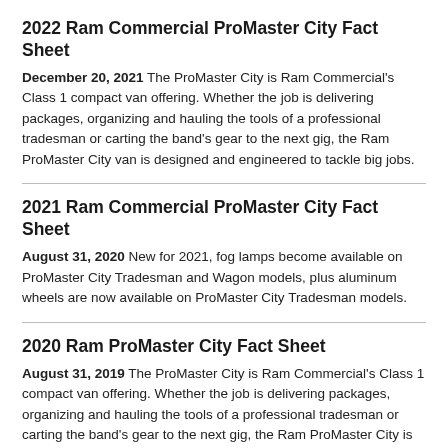2022 Ram Commercial ProMaster City Fact Sheet
December 20, 2021 The ProMaster City is Ram Commercial's Class 1 compact van offering. Whether the job is delivering packages, organizing and hauling the tools of a professional tradesman or carting the band's gear to the next gig, the Ram ProMaster City van is designed and engineered to tackle big jobs.
2021 Ram Commercial ProMaster City Fact Sheet
August 31, 2020 New for 2021, fog lamps become available on ProMaster City Tradesman and Wagon models, plus aluminum wheels are now available on ProMaster City Tradesman models.
2020 Ram ProMaster City Fact Sheet
August 31, 2019 The ProMaster City is Ram Commercial's Class 1 compact van offering. Whether the job is delivering packages, organizing and hauling the tools of a professional tradesman or carting the band's gear to the next gig, the Ram ProMaster City is the most capable and best value in America.